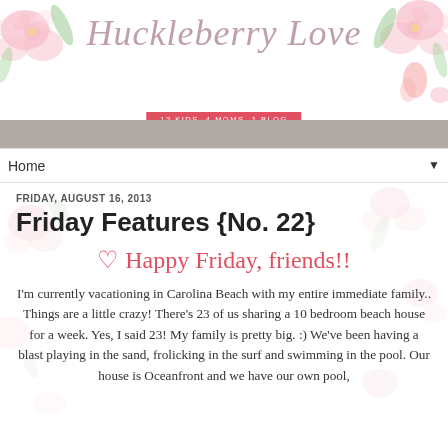[Figure (illustration): Watercolor floral blog header with pink roses and green leaves, script text 'Huckleberry Love' and pink ribbon banner reading '12 KIDS. 4 MOMS. 1 BLOG', with grey navigation bar]
Huckleberry Love | 12 KIDS. 4 MOMS. 1 BLOG
Home
FRIDAY, AUGUST 16, 2013
Friday Features {No. 22}
Happy Friday, friends!!
I'm currently vacationing in Carolina Beach with my entire immediate family.. Things are a little crazy! There's 23 of us sharing a 10 bedroom beach house for a week. Yes, I said 23! My family is pretty big. :) We've been having a blast playing in the sand, frolicking in the surf and swimming in the pool. Our house is Oceanfront and we have our own pool,